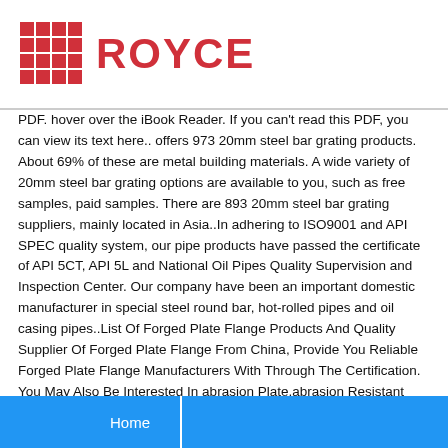ROYCE
PDF. hover over the iBook Reader. If you can't read this PDF, you can view its text here.. offers 973 20mm steel bar grating products. About 69% of these are metal building materials. A wide variety of 20mm steel bar grating options are available to you, such as free samples, paid samples. There are 893 20mm steel bar grating suppliers, mainly located in Asia..In adhering to ISO9001 and API SPEC quality system, our pipe products have passed the certificate of API 5CT, API 5L and National Oil Pipes Quality Supervision and Inspection Center. Our company have been an important domestic manufacturer in special steel round bar, hot-rolled pipes and oil casing pipes..List Of Forged Plate Flange Products And Quality Supplier Of Forged Plate Flange From China, Provide You Reliable Forged Plate Flange Manufacturers With Through The Certification. You May Also Be Interested In abrasion Plate,abrasion Resistant Plate,abrasion Resistant Steel Plate,abrasive Backing Plate,abrasive Plate.Empire Steel Co. Drackett needed. the said both "yes" and "no" on national pol-gress steel and machinery it so desper¬ cannot in 1947 ately needed for reconstruction avoid another 1920-21, what instead of radios, mechanical pen¬ Chancels there in the '50s to avoid cils, and cigarette lighters. those it called for under that .5032711063789 Pierre H. Matisse: An Artist of Love and Freedom, Pierre H Matisse 9781589250819 1589250818
Home